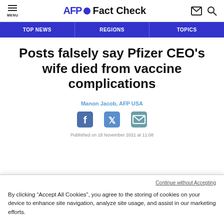AFP Fact Check
TOP NEWS | REGIONS | TOPICS
Posts falsely say Pfizer CEO's wife died from vaccine complications
Manon Jacob, AFP USA
Continue without Accepting
By clicking “Accept All Cookies”, you agree to the storing of cookies on your device to enhance site navigation, analyze site usage, and assist in our marketing efforts.